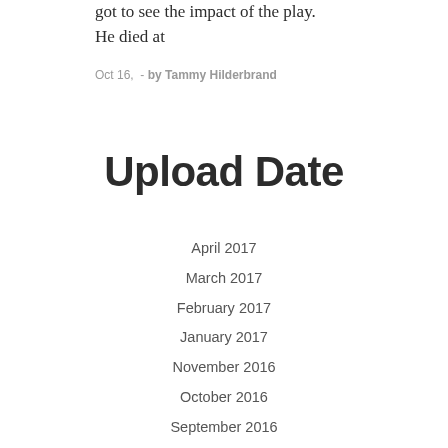got to see the impact of the play. He died at
Oct 16,  - by Tammy Hilderbrand
Upload Date
April 2017
March 2017
February 2017
January 2017
November 2016
October 2016
September 2016
July 2016